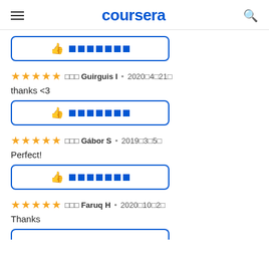coursera
thanks <3
Perfect!
Thanks